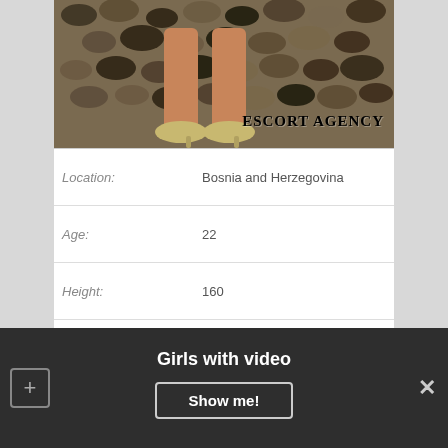[Figure (photo): Photo showing legs in high heels against a pebble/stone background with watermark text ESCORT AGENCY]
| Location: | Bosnia and Herzegovina |
| Age: | 22 |
| Height: | 160 |
| Weight: | 59 |
| Available: | 10:00 – 23:00 |
| Group sex: | 450$ |
Girls with video
Show me!